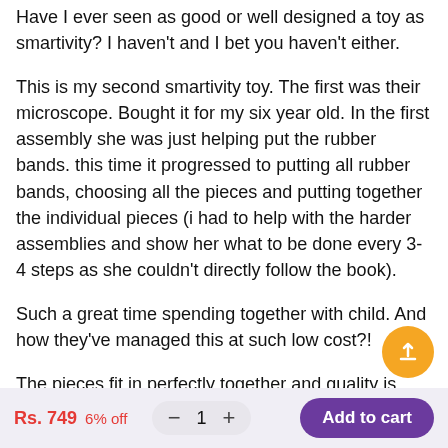Have I ever seen as good or well designed a toy as smartivity? I haven't and I bet you haven't either.
This is my second smartivity toy. The first was their microscope. Bought it for my six year old. In the first assembly she was just helping put the rubber bands. this time it progressed to putting all rubber bands, choosing all the pieces and putting together the individual pieces (i had to help with the harder assemblies and show her what to be done every 3-4 steps as she couldn't directly follow the book).
Such a great time spending together with child. And how they've managed this at such low cost?!
The pieces fit in perfectly together and quality is
Rs. 749  6% off